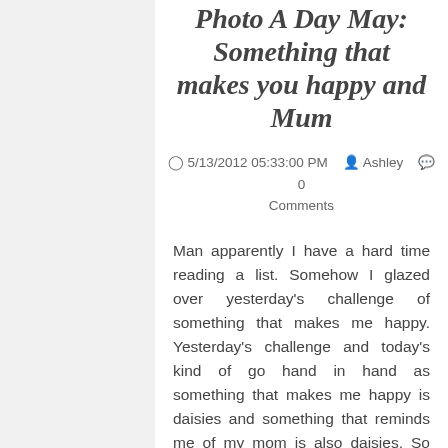Photo A Day May: Something that makes you happy and Mum
5/13/2012 05:33:00 PM  Ashley  0 Comments
Man apparently I have a hard time reading a list. Somehow I glazed over yesterday's challenge of something that makes me happy. Yesterday's challenge and today's kind of go hand in hand as something that makes me happy is daisies and something that reminds me of my mom is also daisies. So enjoy two days worth of